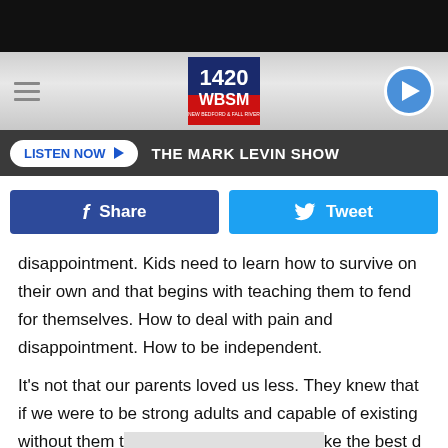[Figure (screenshot): 1420 WBSM radio station logo — white bold text on red/navy background]
LISTEN NOW ▶   THE MARK LEVIN SHOW
[Figure (infographic): Facebook Share button and Twitter Tweet button]
disappointment. Kids need to learn how to survive on their own and that begins with teaching them to fend for themselves. How to deal with pain and disappointment. How to be independent.
It's not that our parents loved us less. They knew that if we were to be strong adults and capable of existing without them that they had to give us opportunities to make the best de